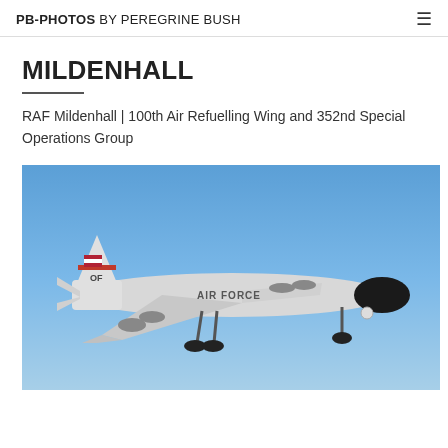PB-PHOTOS BY PEREGRINE BUSH
MILDENHALL
RAF Mildenhall | 100th Air Refuelling Wing and 352nd Special Operations Group
[Figure (photo): A US Air Force reconnaissance/tanker aircraft (white and grey livery with 'AIR FORCE' markings and tail code 'OF') in flight against a blue sky, landing gear deployed.]